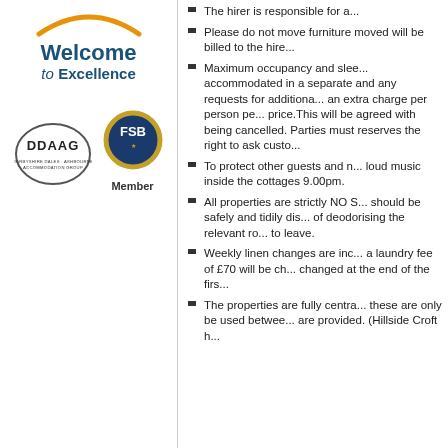[Figure (logo): Welcome to Excellence logo with orange arc and blue text]
[Figure (logo): DDAAG - Derbyshire Dales Ashbourne Accommodation Group logo (oval border)]
[Figure (logo): FSB Member logo - blue circular badge with gold laurel wreath]
The hirer is responsible for a...
Please do not move furniture moved will be billed to the hire...
Maximum occupancy and slee... accommodated in a separate and any requests for additiona... an extra charge per person pe... price.This will be agreed with being cancelled. Parties must reserves the right to ask custo...
To protect other guests and n... loud music inside the cottages 9.00pm.
All properties are strictly NO S... should be safely and tidily dis... of deodorising the relevant ro... to leave.
Weekly linen changes are inc... a laundry fee of £70 will be ch... changed at the end of the firs...
The properties are fully centra... these are only be used betwee... are provided. (Hillside Croft h...